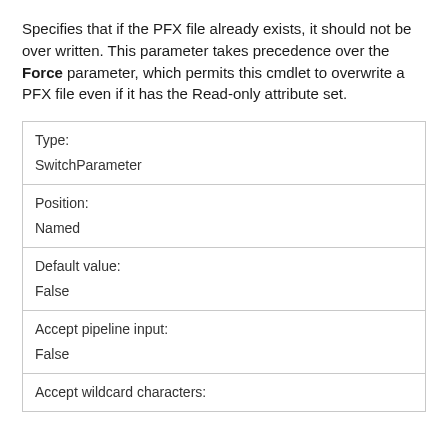Specifies that if the PFX file already exists, it should not be over written. This parameter takes precedence over the Force parameter, which permits this cmdlet to overwrite a PFX file even if it has the Read-only attribute set.
| Type: | SwitchParameter |
| Position: | Named |
| Default value: | False |
| Accept pipeline input: | False |
| Accept wildcard characters: |  |